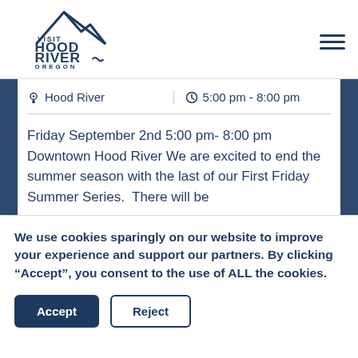[Figure (logo): Visit Hood River Oregon logo with mountain peak graphic]
| Hood River | 5:00 pm - 8:00 pm |
Friday September 2nd 5:00 pm- 8:00 pm Downtown Hood River We are excited to end the summer season with the last of our First Friday Summer Series.  There will be
We use cookies sparingly on our website to improve your experience and support our partners. By clicking “Accept”, you consent to the use of ALL the cookies.